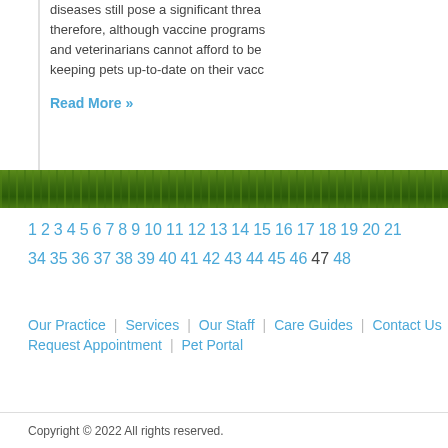diseases still pose a significant threat; therefore, although vaccine programs and veterinarians cannot afford to be keeping pets up-to-date on their vaccinations.
Read More »
[Figure (photo): Green grass strip decoration bar across the page]
1 2 3 4 5 6 7 8 9 10 11 12 13 14 15 16 17 18 19 20 21 ... 34 35 36 37 38 39 40 41 42 43 44 45 46 47 48
Our Practice | Services | Our Staff | Care Guides | Contact Us | Fa... Request Appointment | Pet Portal
Copyright © 2022 All rights reserved.